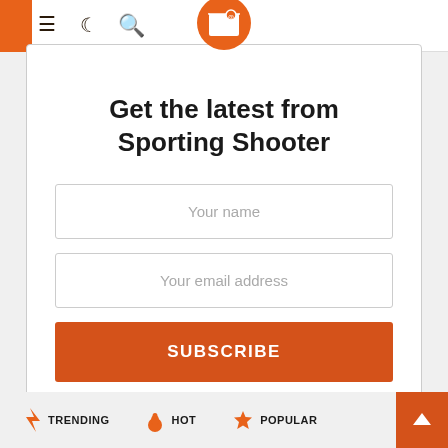Sporting Shooter website header with menu, moon, search icons and email newsletter icon
Get the latest from Sporting Shooter
Your name
Your email address
SUBSCRIBE
Don't worry, we don't spam
TRENDING   HOT   POPULAR